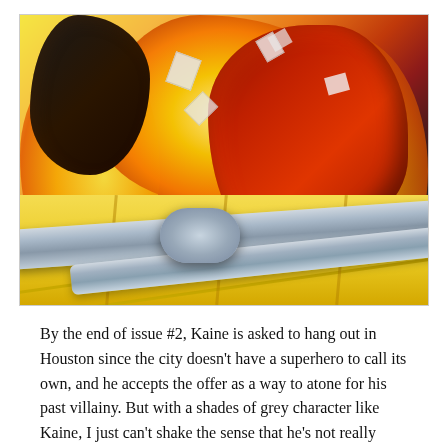[Figure (illustration): Comic book illustration showing a figure in a red suit suspended or falling amid cables/wires and intense flames/fire, with yellow and orange background suggesting an explosion, debris fragments flying, and a dark figure in the upper left corner. The scene appears dynamic and action-oriented.]
By the end of issue #2, Kaine is asked to hang out in Houston since the city doesn't have a superhero to call its own, and he accepts the offer as a way to atone for his past villainy. But with a shades of grey character like Kaine, I just can't shake the sense that he's not really looking to